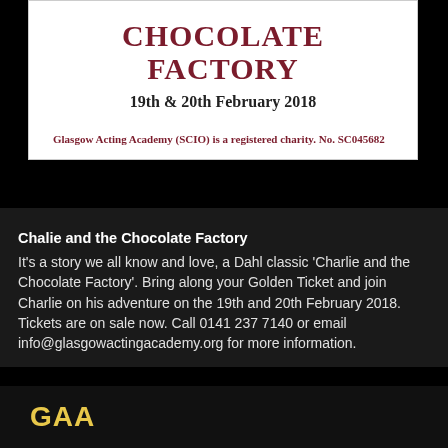CHOCOLATE FACTORY
19th & 20th February 2018
Glasgow Acting Academy (SCIO) is a registered charity. No. SC045682
Chalie and the Chocolate Factory
It's a story we all know and love, a Dahl classic 'Charlie and the Chocolate Factory'. Bring along your Golden Ticket and join Charlie on his adventure on the 19th and 20th February 2018. Tickets are on sale now. Call 0141 237 7140 or email info@glasgowactingacademy.org for more information.
GAA